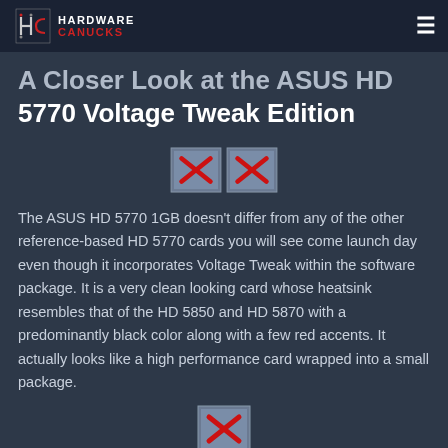HARDWARE CANUCKS
A Closer Look at the ASUS HD 5770 Voltage Tweak Edition
[Figure (other): Two broken/missing image placeholders shown as red X icons in blue-grey boxes]
The ASUS HD 5770 1GB doesn't differ from any of the other reference-based HD 5770 cards you will see come launch day even though it incorporates Voltage Tweak within the software package. It is a very clean looking card whose heatsink resembles that of the HD 5850 and HD 5870 with a predominantly black color along with a few red accents. It actually looks like a high performance card wrapped into a small package.
[Figure (other): One broken/missing image placeholder shown as a red X icon in a blue-grey box]